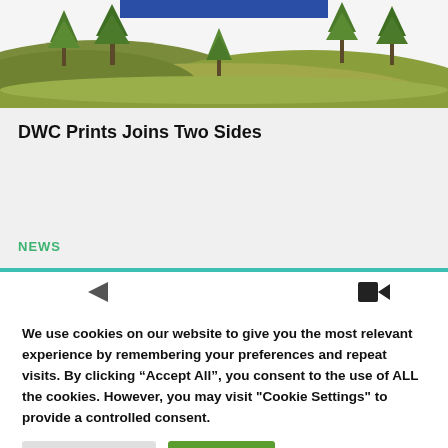[Figure (illustration): Green illustrated landscape with trees on hills, blue rectangle at top center]
DWC Prints Joins Two Sides
NEWS
[Figure (illustration): Partial view of next card with icon elements visible]
We use cookies on our website to give you the most relevant experience by remembering your preferences and repeat visits. By clicking “Accept All”, you consent to the use of ALL the cookies. However, you may visit "Cookie Settings" to provide a controlled consent.